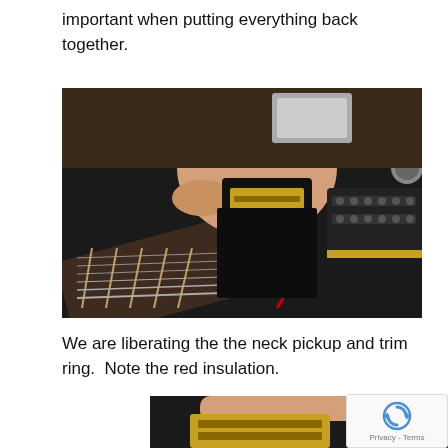important when putting everything back together.
[Figure (photo): A hand holding a guitar neck pickup with gold hardware and a red wire, being removed from a black electric guitar body. A second humbucker pickup is visible in the background on the right side of the guitar body.]
We are liberating the the neck pickup and trim ring.  Note the red insulation.
[Figure (photo): Partial view of a guitar pickup being held, with gold hardware visible at the bottom of the frame, partially cropped.]